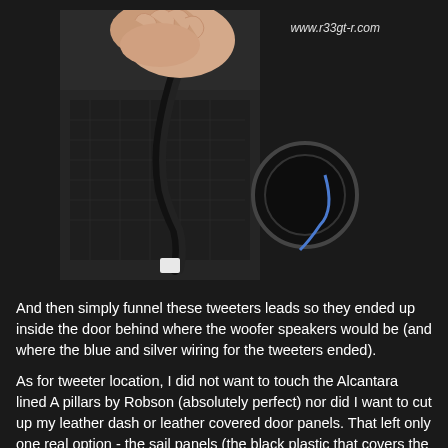[Figure (photo): A hand holding a black wire/cable lead inside a car door cavity, showing the woofer speaker opening with blue and silver wiring visible, and the door panel internals exposed. Watermark text 'www.r33gt-r.com' visible in upper right.]
And then simply funnel these tweeters leads so they ended up inside the door behind where the woofer speakers would be (and where the blue and silver wiring for the tweeters ended).
As for tweeter location, I did not want to touch the Alcantara lined A pillars by Robson (absolutely perfect) nor did I want to cut up my leather dash or leather covered door panels. That left only one real option - the sail panels (the black plastic that covers the area where the green arrow is